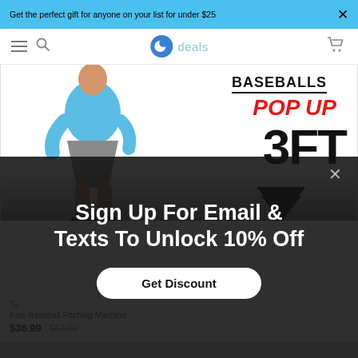Get the perfect gift for anyone on your list for under $25
[Figure (screenshot): Navigation bar with hamburger menu, search icon, 'b deals' logo, and shopping cart icon]
[Figure (photo): Product promotional image showing a person in blue shirt and grey shorts, with text 'BASEBALLS POP UP 3FT' and a downward arrow]
Sign Up For Email & Texts To Unlock 10% Off
Get Discount
Kids Baseball Pitching Machine
$36.99  $63.00